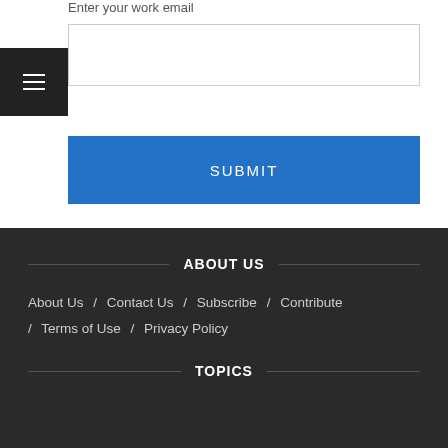Enter your work email
[Figure (screenshot): Email input text field (empty, white background with light border)]
SUBMIT
ABOUT US
About Us / Contact Us / Subscribe / Contribute / Terms of Use / Privacy Policy
TOPICS